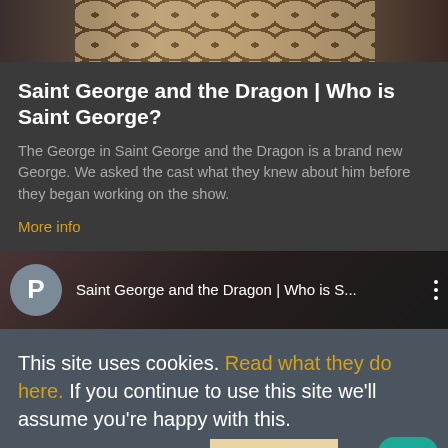[Figure (photo): Partial photo strip showing leopard print fabric/clothing at top of page]
Saint George and the Dragon | Who is Saint George?
The George in Saint George and the Dragon is a brand new George. We asked the cast what they knew about him before they began working on the show.
More info
[Figure (screenshot): Video thumbnail bar showing avatar P, title 'Saint George and the Dragon | Who is S...' and three-dot menu]
This site uses cookies. Read what they do here. If you continue to use this site we'll assume you're happy with this.
Accept and